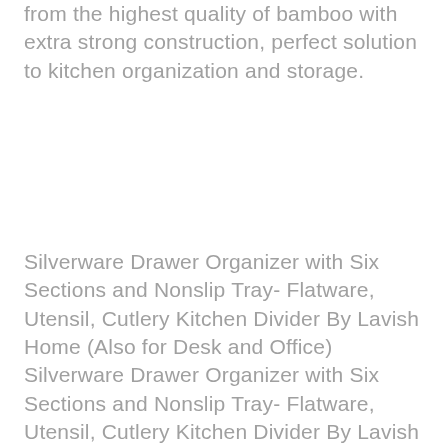from the highest quality of bamboo with extra strong construction, perfect solution to kitchen organization and storage.
Silverware Drawer Organizer with Six Sections and Nonslip Tray- Flatware, Utensil, Cutlery Kitchen Divider By Lavish Home (Also for Desk and Office) Silverware Drawer Organizer with Six Sections and Nonslip Tray- Flatware, Utensil, Cutlery Kitchen Divider By Lavish Home (Also for Desk and Office) - Easy care- the lavish home silverware drawer tray only requires a damp warm soapy sponge or cloth for fast and effortless cleaning. Product